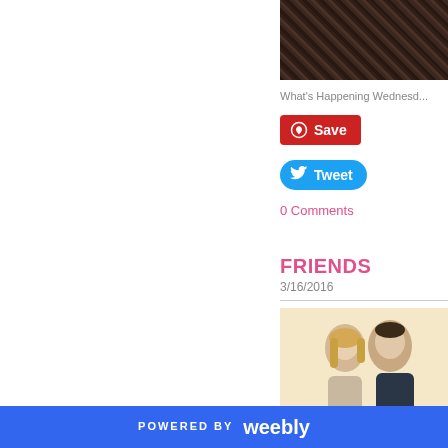[Figure (photo): Dark soil/dirt texture photo in upper right portion of page]
What's Happening Wednesd...
[Figure (other): Pinterest Save button (red with Pinterest logo)]
[Figure (other): Twitter Tweet button (blue with Twitter bird logo)]
0 Comments
FRIENDS
3/16/2016
[Figure (photo): Photo of two people (woman with blonde hair and man) on cream/beige background]
POWERED BY weebly